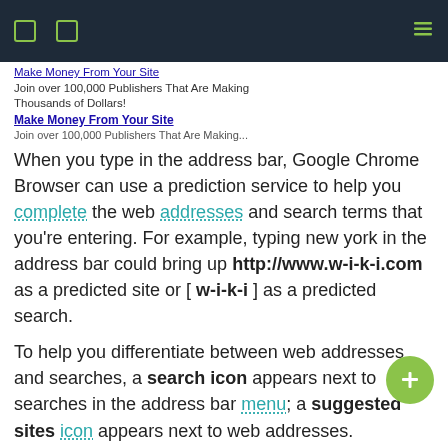[navigation bar with icons]
Make Money From Your Site
Join over 100,000 Publishers That Are Making Thousands of Dollars!
Make Money From Your Site
Join over 100,000 Publishers That Are Making...
When you type in the address bar, Google Chrome Browser can use a prediction service to help you complete the web addresses and search terms that you're entering. For example, typing new york in the address bar could bring up http://www.w-i-k-i.com as a predicted site or [ w-i-k-i ] as a predicted search.
To help you differentiate between web addresses and searches, a search icon appears next to searches in the address bar menu; a suggested sites icon appears next to web addresses.
Disable the prediction service
The prediction service is typically turned on by default. Steps below to turn it off: